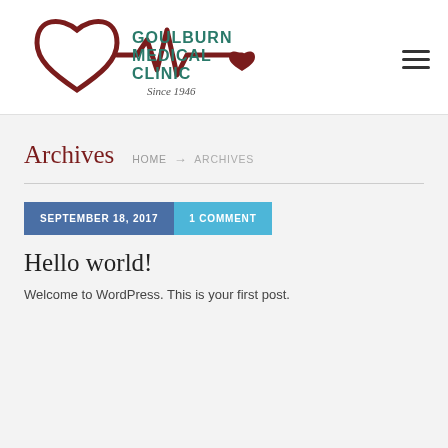[Figure (logo): Goulburn Medical Clinic logo with stethoscope/heartbeat graphic and text 'GOULBURN MEDICAL CLINIC Since 1946']
Archives
HOME → ARCHIVES
SEPTEMBER 18, 2017   1 COMMENT
Hello world!
Welcome to WordPress. This is your first post.